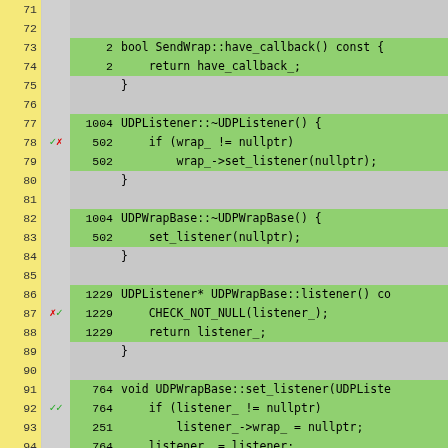[Figure (screenshot): Code coverage viewer showing C++ source lines 71-96 with line numbers (yellow column), branch markers (gray column), execution counts (green column), and source code (green/gray background). Lines with green background are covered; gray lines are not. Red X and green checkmarks indicate branch coverage results.]